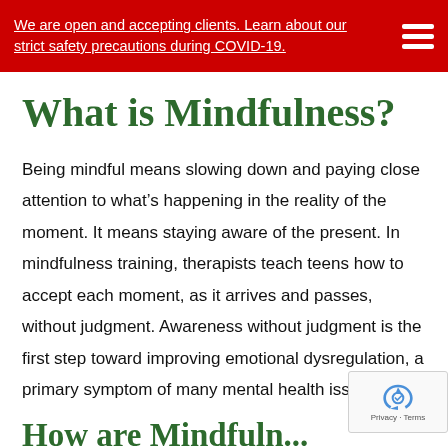We are open and accepting clients. Learn about our strict safety precautions during COVID-19.
What is Mindfulness?
Being mindful means slowing down and paying close attention to what’s happening in the reality of the moment. It means staying aware of the present. In mindfulness training, therapists teach teens how to accept each moment, as it arrives and passes, without judgment. Awareness without judgment is the first step toward improving emotional dysregulation, a primary symptom of many mental health issues
How are Mindfuln...